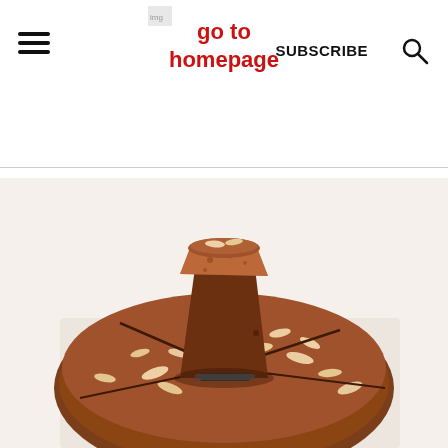go to homepage | SUBSCRIBE
[Figure (photo): A round almond cake sliced into wedges, with one slice lifted up showing the tender brown crumb interior, topped with sliced almonds, on parchment paper.]